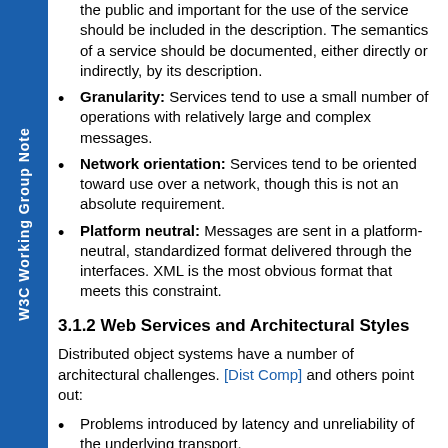the public and important for the use of the service should be included in the description. The semantics of a service should be documented, either directly or indirectly, by its description.
Granularity: Services tend to use a small number of operations with relatively large and complex messages.
Network orientation: Services tend to be oriented toward use over a network, though this is not an absolute requirement.
Platform neutral: Messages are sent in a platform-neutral, standardized format delivered through the interfaces. XML is the most obvious format that meets this constraint.
3.1.2 Web Services and Architectural Styles
Distributed object systems have a number of architectural challenges. [Dist Comp] and others point out:
Problems introduced by latency and unreliability of the underlying transport.